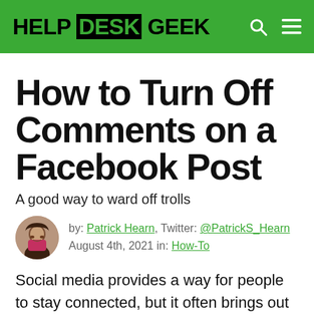HELP DESK GEEK
How to Turn Off Comments on a Facebook Post
A good way to ward off trolls
by: Patrick Hearn, Twitter: @PatrickS_Hearn
August 4th, 2021 in: How-To
Social media provides a way for people to stay connected, but it often brings out the worst in people's behavior. There are times when you want to post something, but without the option for people to make